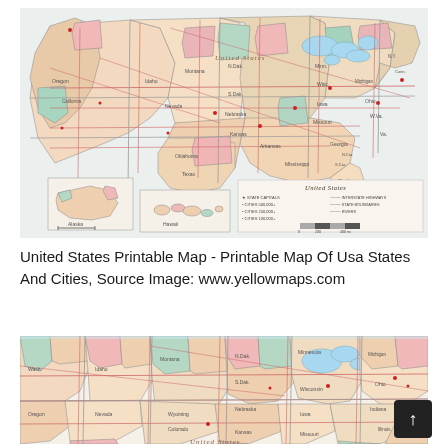[Figure (map): Printable political map of the United States showing state boundaries, cities, roads, and insets of Alaska and Hawaii with legend]
United States Printable Map - Printable Map Of Usa States And Cities, Source Image: www.yellowmaps.com
[Figure (map): Cropped/zoomed view of the northern United States political map showing state boundaries, cities, and roads]